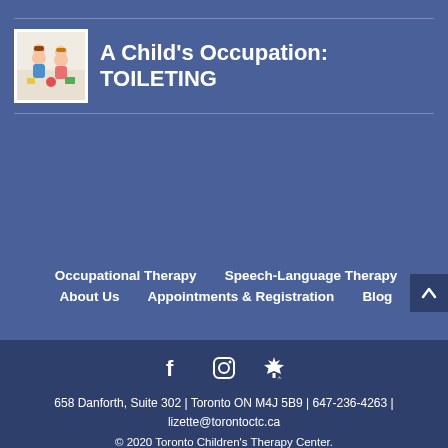A Child's Occupation: TOILETING
[Figure (photo): Small children playing with toys, shown as a thumbnail image]
Occupational Therapy   Speech-Language Therapy   About Us   Appointments & Registration   Blog
658 Danforth, Suite 302 | Toronto ON M4J 5B9 | 647-236-4263 | lizette@torontoctc.ca
© 2020 Toronto Children's Therapy Center.